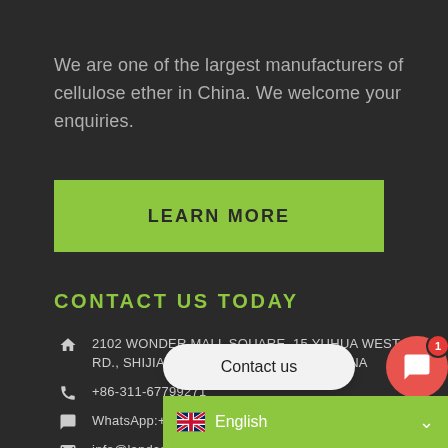We are one of the largest manufacturers of cellulose ether in China. We welcome your enquiries.
LEARN MORE
CONTACT US TODAY
2102 WONDER MALL SQUARE, 15 YUHUA WEST RD., SHIJIAZHUANG 050000, HEBEI, CHINA
+86-311-67799271
WhatsApp:+86-13780519211
info@landcel.com
[Figure (screenshot): Contact us chat bubble overlay with English language selector bar and red chat button with badge showing 1]